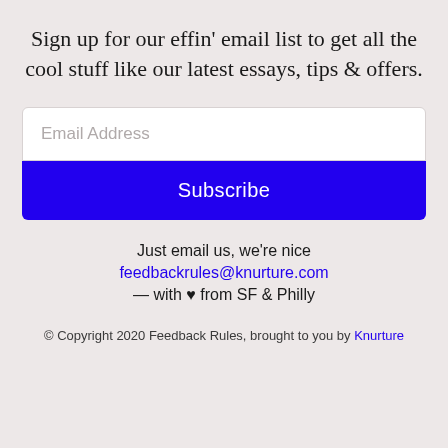Sign up for our effin' email list to get all the cool stuff like our latest essays, tips & offers.
Email Address
Subscribe
Just email us, we're nice
feedbackrules@knurture.com
— with ♥ from SF & Philly
© Copyright 2020 Feedback Rules, brought to you by Knurture